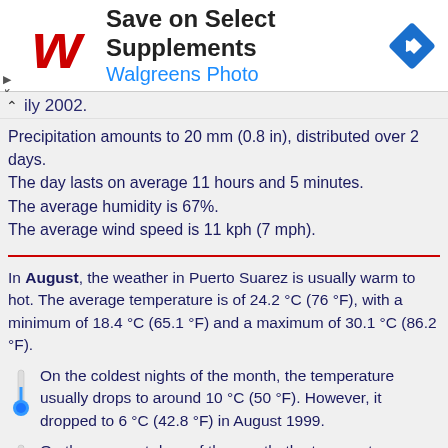[Figure (other): Walgreens advertisement banner: Save on Select Supplements, Walgreens Photo, with Walgreens script logo and blue navigation arrow icon]
ily 2002.
Precipitation amounts to 20 mm (0.8 in), distributed over 2 days. The day lasts on average 11 hours and 5 minutes. The average humidity is 67%. The average wind speed is 11 kph (7 mph).
In August, the weather in Puerto Suarez is usually warm to hot. The average temperature is of 24.2 °C (76 °F), with a minimum of 18.4 °C (65.1 °F) and a maximum of 30.1 °C (86.2 °F).
On the coldest nights of the month, the temperature usually drops to around 10 °C (50 °F). However, it dropped to 6 °C (42.8 °F) in August 1999.
On the warmest days of the month, the temperature usually above around 37 °C (98.5 °F). However, it reached 39.3 °C (102...